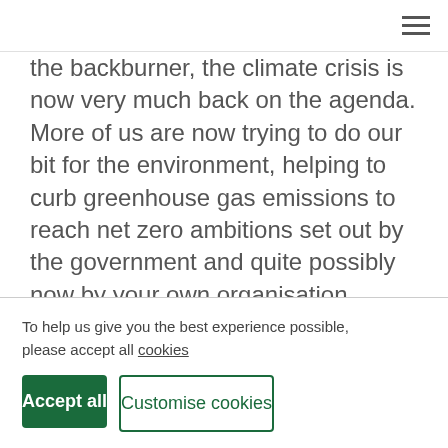≡ (hamburger menu icon)
the backburner, the climate crisis is now very much back on the agenda. More of us are now trying to do our bit for the environment, helping to curb greenhouse gas emissions to reach net zero ambitions set out by the government and quite possibly now by your own organisation.
But despite our best efforts, there are still several
To help us give you the best experience possible, please accept all cookies
Accept all
Customise cookies